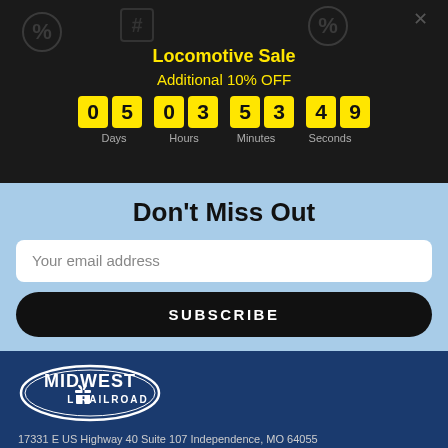Locomotive Sale
Additional 10% OFF
05 03 53 49 Days Hours Minutes Seconds
Don't Miss Out
Your email address
SUBSCRIBE
[Figure (logo): Midwest Model Railroad logo — white oval border with MIDWEST text and a gift box icon, L RAILROAD below]
17331 E US Highway 40 Suite 107 Independence, MO 64055